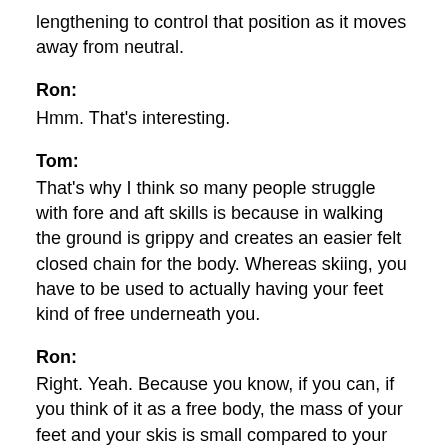lengthening to control that position as it moves away from neutral.
Ron:
Hmm. That's interesting.
Tom:
That's why I think so many people struggle with fore and aft skills is because in walking the ground is grippy and creates an easier felt closed chain for the body. Whereas skiing, you have to be used to actually having your feet kind of free underneath you.
Ron:
Right. Yeah. Because you know, if you can, if you think of it as a free body, the mass of your feet and your skis is small compared to your torso, so you can move your feet, you can move your feet relatively easily fore and aft underneath you.